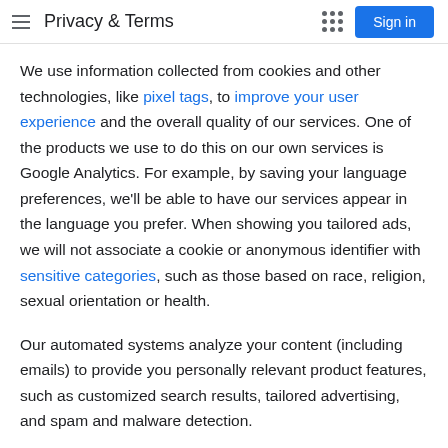Privacy & Terms
We use information collected from cookies and other technologies, like pixel tags, to improve your user experience and the overall quality of our services. One of the products we use to do this on our own services is Google Analytics. For example, by saving your language preferences, we'll be able to have our services appear in the language you prefer. When showing you tailored ads, we will not associate a cookie or anonymous identifier with sensitive categories, such as those based on race, religion, sexual orientation or health.
Our automated systems analyze your content (including emails) to provide you personally relevant product features, such as customized search results, tailored advertising, and spam and malware detection.
We may combine personal information from one service with